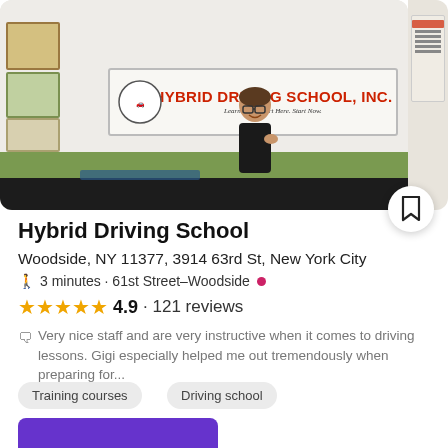[Figure (photo): Interior photo of Hybrid Driving School showing a person behind a counter with a large banner reading 'Hybrid Driving School, Inc. Learn Here. Start Here. Start Now.' on the wall behind them, along with framed certificates on the walls.]
Hybrid Driving School
Woodside, NY 11377, 3914 63rd St, New York City
3 minutes · 61st Street–Woodside
4.9 · 121 reviews
Very nice staff and are very instructive when it comes to driving lessons. Gigi especially helped me out tremendously when preparing for...
Training courses
Driving school